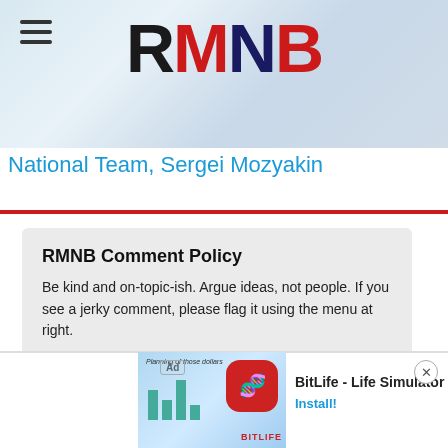RMNB
National Team, Sergei Mozyakin
RMNB Comment Policy
Be kind and on-topic-ish. Argue ideas, not people. If you see a jerky comment, please flag it using the menu at right.
Please read our Comment Policy before commenting.
[Figure (screenshot): BitLife - Life Simulator advertisement banner at bottom of page with colorful app icon and Install button]